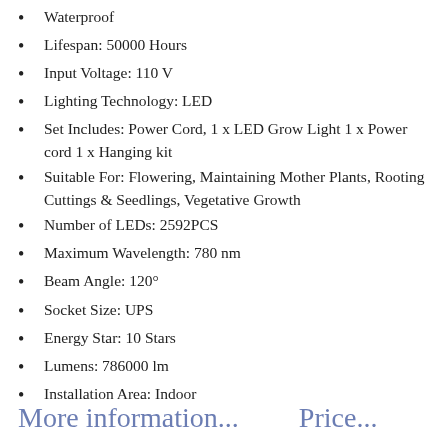Waterproof
Lifespan: 50000 Hours
Input Voltage: 110 V
Lighting Technology: LED
Set Includes: Power Cord, 1 x LED Grow Light 1 x Power cord 1 x Hanging kit
Suitable For: Flowering, Maintaining Mother Plants, Rooting Cuttings & Seedlings, Vegetative Growth
Number of LEDs: 2592PCS
Maximum Wavelength: 780 nm
Beam Angle: 120°
Socket Size: UPS
Energy Star: 10 Stars
Lumens: 786000 lm
Installation Area: Indoor
More information...    Price...